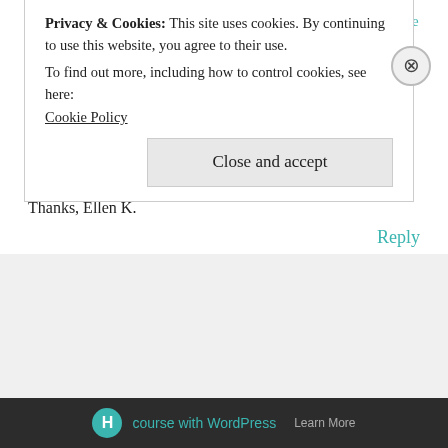Pingback: [Free Pattern] This Super Cute Ribbon Christmas Tree Is A Quick And Easy Pattern - Knit And Crochet Daily
Ellen Kerr
on March 20, 2016 at 12:09 pm
Hi, I love this pattern! What brand of yarn did you use? Thanks, Ellen K.
Reply
Privacy & Cookies: This site uses cookies. By continuing to use this website, you agree to their use.
To find out more, including how to control cookies, see here:
Cookie Policy
Close and accept
course with WordPress  Learn More